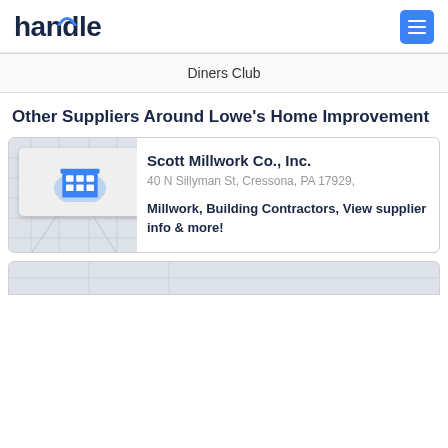handle
Diners Club
Other Suppliers Around Lowe's Home Improvement
[Figure (map): Map thumbnail with building pin icon for Scott Millwork Co., Inc.]
Scott Millwork Co., Inc.
40 N Sillyman St, Cressona, PA 17929,
Millwork, Building Contractors, View supplier info & more!
[Figure (map): Partial map thumbnail for another supplier card at bottom]